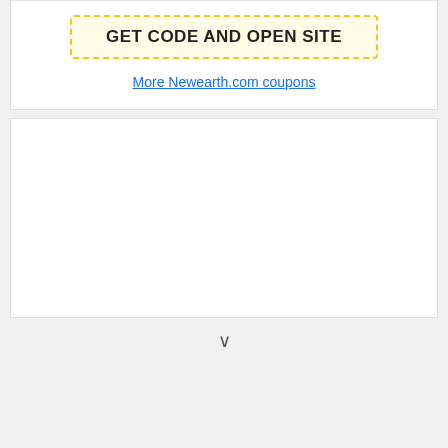[Figure (screenshot): Yellow dashed-border button with text GET CODE AND OPEN SITE on a white card]
More Newearth.com coupons
[Figure (screenshot): Empty white card section below the coupon card]
v